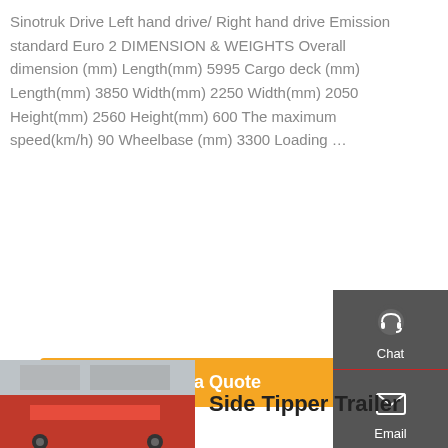Sinotruk Drive Left hand drive/ Right hand drive Emission standard Euro 2 DIMENSION & WEIGHTS Overall dimension (mm) Length(mm) 5995 Cargo deck (mm) Length(mm) 3850 Width(mm) 2250 Width(mm) 2050 Height(mm) 2560 Height(mm) 600 The maximum speed(km/h) 90 Wheelbase (mm) 3300 Loading …
[Figure (other): Sidebar navigation panel with Chat (headset icon), Email (envelope icon), Contact (speech bubble icon), and Top (arrow up icon) buttons on a dark grey background]
Get a Quote
[Figure (photo): Photo of a red truck/tipper vehicle in front of an industrial building]
Side Tipper Trailer